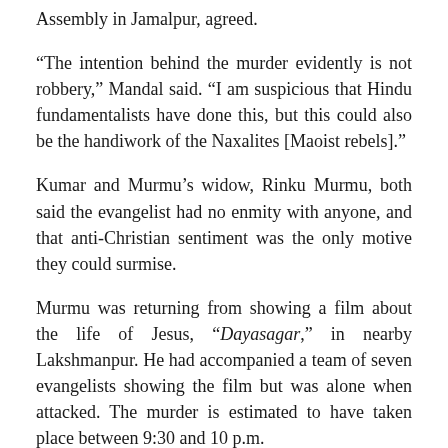Assembly in Jamalpur, agreed.
“The intention behind the murder evidently is not robbery,” Mandal said. “I am suspicious that Hindu fundamentalists have done this, but this could also be the handiwork of the Naxalites [Maoist rebels].”
Kumar and Murmu’s widow, Rinku Murmu, both said the evangelist had no enmity with anyone, and that anti-Christian sentiment was the only motive they could surmise.
Murmu was returning from showing a film about the life of Jesus, “Dayasagar,” in nearby Lakshmanpur. He had accompanied a team of seven evangelists showing the film but was alone when attacked. The murder is estimated to have taken place between 9:30 and 10 p.m.